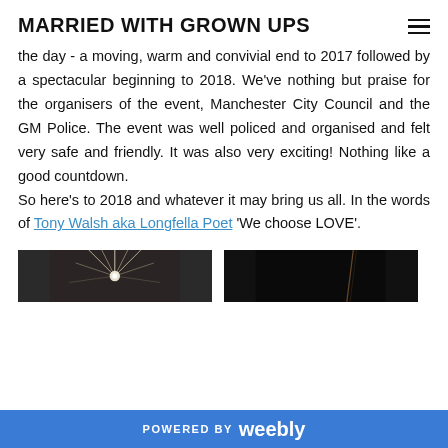MARRIED WITH GROWN UPS
the day - a moving, warm and convivial end to 2017 followed by a spectacular beginning to 2018. We've nothing but praise for the organisers of the event, Manchester City Council and the GM Police. The event was well policed and organised and felt very safe and friendly. It was also very exciting! Nothing like a good countdown.
So here's to 2018 and whatever it may bring us all. In the words of Tony Walsh aka Longfella Poet 'We choose LOVE'.
[Figure (photo): Two side-by-side photos, left shows light burst/fireworks, right shows dark scene with instrument or figure]
POWERED BY weebly